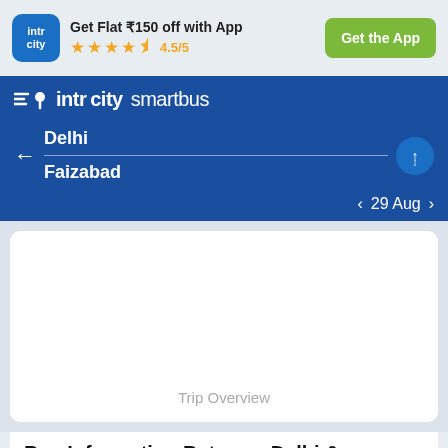[Figure (screenshot): IntrCity app logo - blue rounded square with 'intr city' text in white]
Get Flat ₹150 off with App ★★★★½ 4.5/5
Get the App
[Figure (logo): IntrCity SmartBus logo with location pin icon and speed lines]
Delhi
Faizabad
< 29 Aug >
Trip Overview
Bus Information Between Delhi & Faizabad